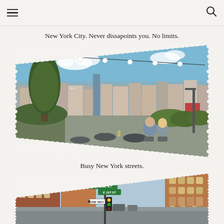New York City. Never dissapoints you. No limits.
[Figure (photo): Rooftop bar/lounge with string lights overhead, two people sitting and talking, city skyline including buildings and trees in the background under a blue sky with white clouds.]
Busy New York streets.
[Figure (photo): Busy New York City street scene with red brick buildings, green street signs for Prince Street and a one-way sign, yellow traffic lights, and a view down the street with parked cars.]